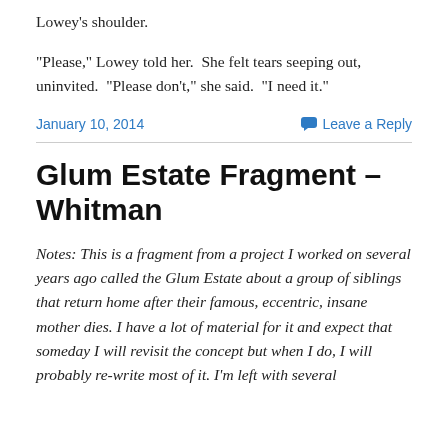Lowey's shoulder.
“Please,” Lowey told her.  She felt tears seeping out, uninvited.  “Please don’t,” she said.  “I need it.”
January 10, 2014
Leave a Reply
Glum Estate Fragment – Whitman
Notes: This is a fragment from a project I worked on several years ago called the Glum Estate about a group of siblings that return home after their famous, eccentric, insane mother dies. I have a lot of material for it and expect that someday I will revisit the concept but when I do, I will probably re-write most of it. I’m left with several